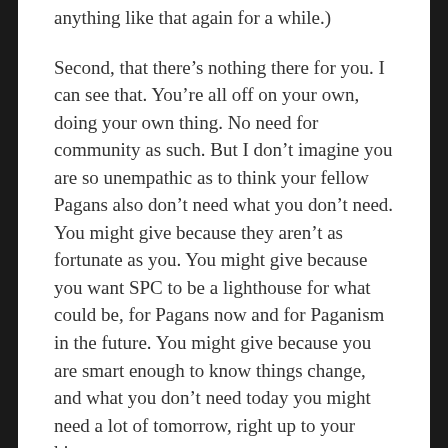anything like that again for a while.)
Second, that there's nothing there for you. I can see that. You're all off on your own, doing your own thing. No need for community as such. But I don't imagine you are so unempathic as to think your fellow Pagans also don't need what you don't need. You might give because they aren't as fortunate as you. You might give because you want SPC to be a lighthouse for what could be, for Pagans now and for Paganism in the future. You might give because you are smart enough to know things change, and what you don't need today you might need a lot of tomorrow, right up to your hips.
In that same way, you seem to have a